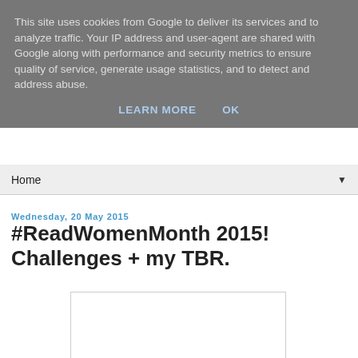This site uses cookies from Google to deliver its services and to analyze traffic. Your IP address and user-agent are shared with Google along with performance and security metrics to ensure quality of service, generate usage statistics, and to detect and address abuse.
LEARN MORE   OK
Home ▼
Wednesday, 20 May 2015
#ReadWomenMonth 2015! Challenges + my TBR.
[Figure (photo): White rectangular image placeholder]
The 1st of the Month! If you've never...